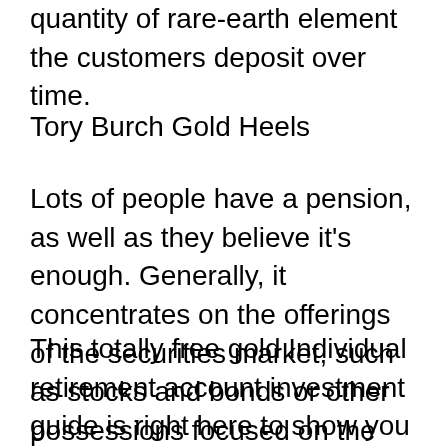quantity of rare-earth element the customers deposit over time.
Tory Burch Gold Heels
Lots of people have a pension, as well as they believe it's enough. Generally, it concentrates on the offerings of the securities market, such as stocks and bonds or other possessions focused on the US dollar.
This totally free gold Individual retirement account investment guide is right here to show you exactly how you can easily transform some of that to bullion coins as well as gold bars. Doing this could secure your financial investment from rising cost of